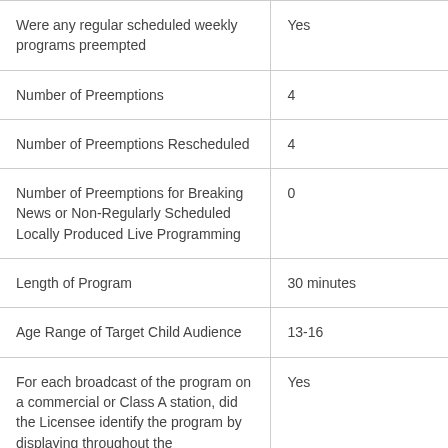| Were any regular scheduled weekly programs preempted | Yes |
| Number of Preemptions | 4 |
| Number of Preemptions Rescheduled | 4 |
| Number of Preemptions for Breaking News or Non-Regularly Scheduled Locally Produced Live Programming | 0 |
| Length of Program | 30 minutes |
| Age Range of Target Child Audience | 13-16 |
| For each broadcast of the program on a commercial or Class A station, did the Licensee identify the program by displaying throughout the | Yes |